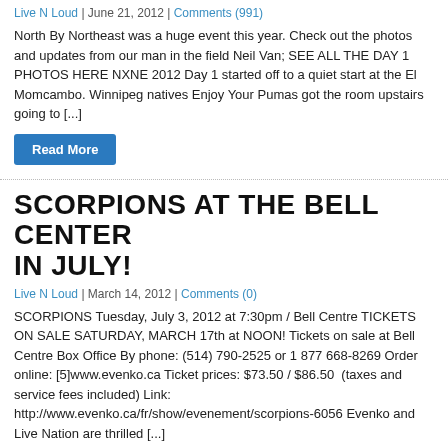Live N Loud | June 21, 2012 | Comments (991)
North By Northeast was a huge event this year. Check out the photos and updates from our man in the field Neil Van; SEE ALL THE DAY 1 PHOTOS HERE NXNE 2012 Day 1 started off to a quiet start at the El Momcambo. Winnipeg natives Enjoy Your Pumas got the room upstairs going to [...]
Read More
SCORPIONS AT THE BELL CENTER IN JULY!
Live N Loud | March 14, 2012 | Comments (0)
SCORPIONS Tuesday, July 3, 2012 at 7:30pm / Bell Centre TICKETS ON SALE SATURDAY, MARCH 17th at NOON! Tickets on sale at Bell Centre Box Office By phone: (514) 790-2525 or 1 877 668-8269 Order online: [5]www.evenko.ca Ticket prices: $73.50 / $86.50  (taxes and service fees included) Link: http://www.evenko.ca/fr/show/evenement/scorpions-6056 Evenko and Live Nation are thrilled [...]
Read More
moe.down XII Will Round Out The